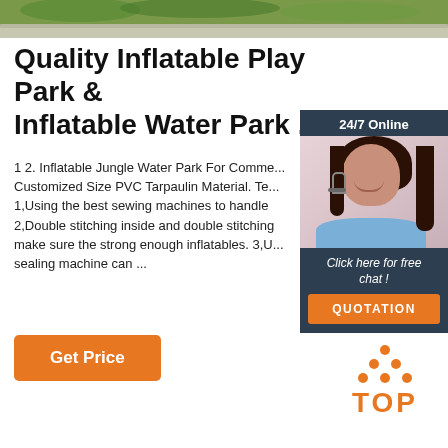[Figure (photo): Top banner showing outdoor path with grass and gravel]
Quality Inflatable Play Park & Inflatable Water Park ...
1 2. Inflatable Jungle Water Park For Comme... Customized Size PVC Tarpaulin Material. Te... 1,Using the best sewing machines to handle 2,Double stitching inside and double stitching make sure the strong enough inflatables. 3,U... sealing machine can ...
[Figure (photo): 24/7 Online chat widget with photo of smiling woman wearing headset, Click here for free chat!, QUOTATION button]
[Figure (logo): Orange TOP logo with dots arranged in triangle above the text TOP]
Get Price